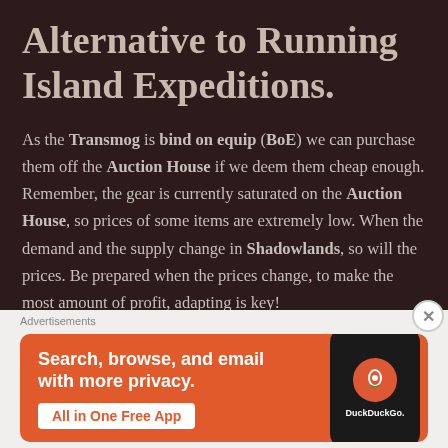Alternative to Running Island Expeditions.
As the Transmog is bind on equip (BoE) we can purchase them off the Auction House if we deem them cheap enough. Remember, the gear is currently saturated on the Auction House, so prices of some items are extremely low. When the demand and the supply change in Shadowlands, so will the prices. Be prepared when the prices change, to make the most amount of profit, adapting is key!
Advertisements
[Figure (other): DuckDuckGo advertisement banner with orange background showing 'Search, browse, and email with more privacy. All in One Free App' text and a phone mockup with DuckDuckGo logo]